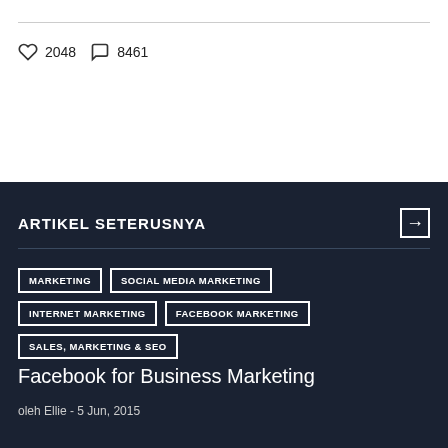2048  8461
ARTIKEL SETERUSNYA →
MARKETING
SOCIAL MEDIA MARKETING
INTERNET MARKETING
FACEBOOK MARKETING
SALES, MARKETING & SEO
Facebook for Business Marketing
oleh Ellie - 5 Jun, 2015